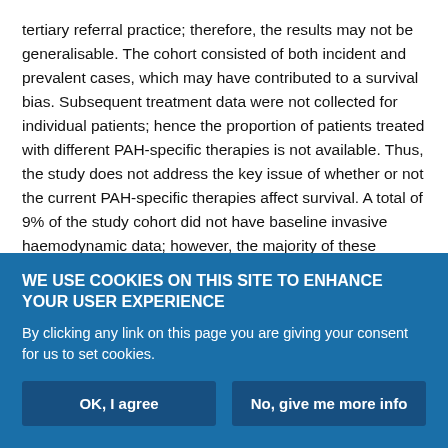tertiary referral practice; therefore, the results may not be generalisable. The cohort consisted of both incident and prevalent cases, which may have contributed to a survival bias. Subsequent treatment data were not collected for individual patients; hence the proportion of patients treated with different PAH-specific therapies is not available. Thus, the study does not address the key issue of whether or not the current PAH-specific therapies affect survival. A total of 9% of the study cohort did not have baseline invasive haemodynamic data; however, the majority of these patients underwent follow-up right heart catheterisation, which confirmed the diagnosis of PAH. Finally, the new equation was developed based on
WE USE COOKIES ON THIS SITE TO ENHANCE YOUR USER EXPERIENCE
By clicking any link on this page you are giving your consent for us to set cookies.